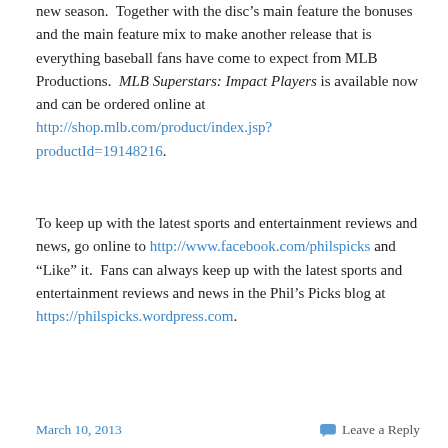new season.  Together with the disc's main feature the bonuses and the main feature mix to make another release that is everything baseball fans have come to expect from MLB Productions.  MLB Superstars: Impact Players is available now and can be ordered online at http://shop.mlb.com/product/index.jsp?productId=19148216.
To keep up with the latest sports and entertainment reviews and news, go online to http://www.facebook.com/philspicks and "Like" it.  Fans can always keep up with the latest sports and entertainment reviews and news in the Phil's Picks blog at https://philspicks.wordpress.com.
March 10, 2013    Leave a Reply